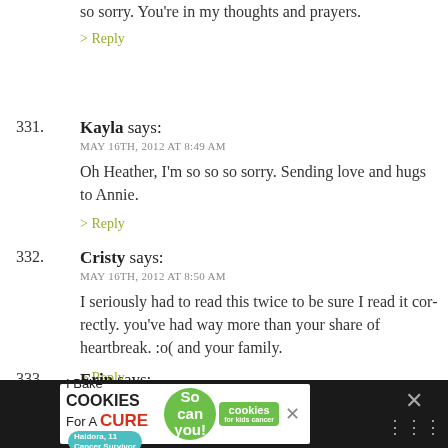so sorry. You're in my thoughts and prayers.
> Reply
331. Kayla says: MAY 16TH, 2012 AT 8:49 AM — Oh Heather, I'm so so so sorry. Sending love and hugs to Annie.
> Reply
332. Cristy says: MAY 16TH, 2012 AT 8:50 AM — I seriously had to read this twice to be sure I read it correctly. you've had way more than your share of heartbreak. :o( and your family.
> Reply
333. Erin says: MAY 16TH, 2012 AT 8:54 AM
[Figure (other): I Bake Cookies For A Cure — Haldora, 11 Cancer Survivor — So can you! — cookies for kids cancer ad banner with close buttons and social media icons]